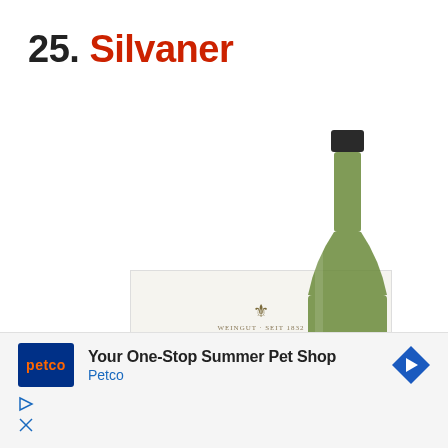25. Silvaner
[Figure (photo): Hans Wirsching Silvaner wine bottle - tall green glass bottle with dark cap and cream label showing Hans Wirsching winery branding, alongside a flat label card showing the Hans Wirsching crest, HANS WIRSCHING text, and SILVANER variety name]
[Figure (screenshot): Advertisement banner for Petco: blue Petco logo on left, text 'Your One-Stop Summer Pet Shop' and 'Petco' in blue below, blue diamond arrow on right, with play and close icons at bottom left]